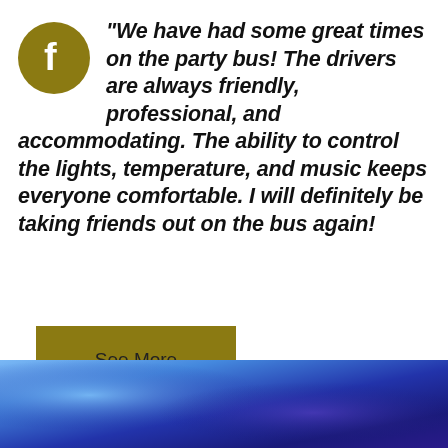"We have had some great times on the party bus! The drivers are always friendly, professional, and accommodating. The ability to control the lights, temperature, and music keeps everyone comfortable. I will definitely be taking friends out on the bus again!
See More
[Figure (photo): Abstract blue and purple glowing light background, resembling interior bus lighting.]